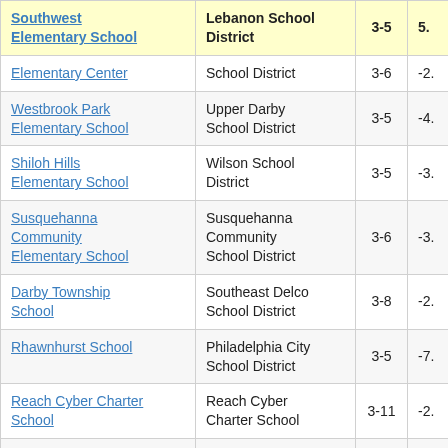| School | District | Grades | Value |
| --- | --- | --- | --- |
| Southwest Elementary School | Lebanon School District | 3-5 | 5. |
| Elementary Center | School District | 3-6 | -2. |
| Westbrook Park Elementary School | Upper Darby School District | 3-5 | -4. |
| Shiloh Hills Elementary School | Wilson School District | 3-5 | -3. |
| Susquehanna Community Elementary School | Susquehanna Community School District | 3-6 | -3. |
| Darby Township School | Southeast Delco School District | 3-8 | -2. |
| Rhawnhurst School | Philadelphia City School District | 3-5 | -7. |
| Reach Cyber Charter School | Reach Cyber Charter School | 3-11 | -2. |
| Pittsburgh | Pittsburgh | 3-5 | -7. |